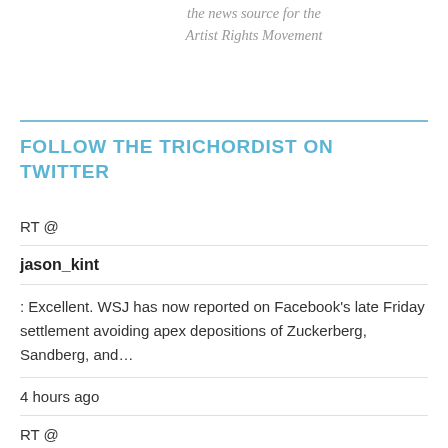the news source for the Artist Rights Movement
FOLLOW THE TRICHORDIST ON TWITTER
RT @
jason_kint
: Excellent. WSJ has now reported on Facebook’s late Friday settlement avoiding apex depositions of Zuckerberg, Sandberg, and…
4 hours ago
RT @